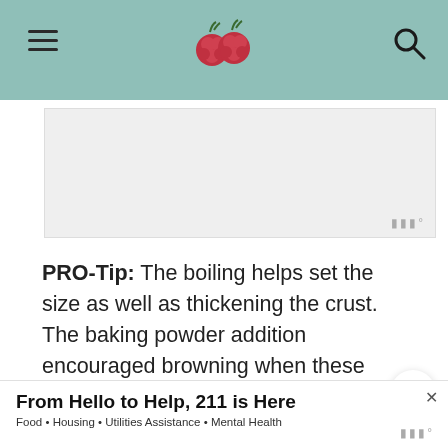Navigation header with hamburger menu, logo (raspberries), and search icon on teal background
[Figure (other): Advertisement banner placeholder (gray rectangle) with Moat logo watermark in bottom right]
PRO-Tip: The boiling helps set the size as well as thickening the crust. The baking powder addition encouraged browning when these whole wheat bagels baked in the oven.
How to Serve Bagels
I sent Bill out for some smoked salmon from Whole
[Figure (other): What's Next callout with circular food image thumbnail, label 'WHAT'S NEXT', and text 'Simple Meringue...']
From Hello to Help, 211 is Here — Food • Housing • Utilities Assistance • Mental Health